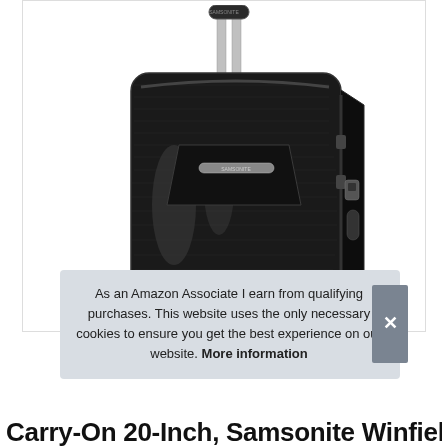[Figure (photo): Product photo of a black Samsonite Winfield 3 carry-on suitcase with silver telescoping handle extended, shown on a white background. The hard-shell luggage has a textured surface, spinner wheels, and side-mounted TSA lock.]
As an Amazon Associate I earn from qualifying purchases. This website uses the only necessary cookies to ensure you get the best experience on our website. More information
Carry-On 20-Inch, Samsonite Winfield 3